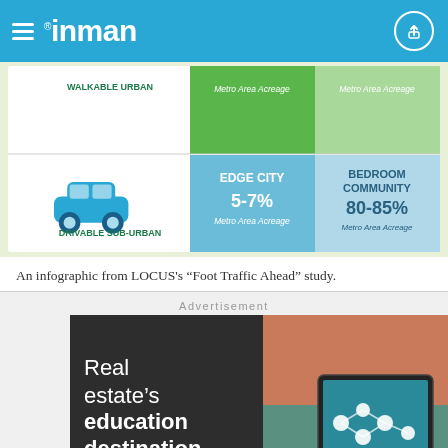inman
[Figure (infographic): Infographic showing urban/suburban categories: Walkable Urban (top row), Drivable Sub-Urban (bottom row with car icon), Edge City 5-7% Metro Area Acreage, Bedroom Community 80-85% Metro Area Acreage]
An infographic from LOCUS’s “Foot Traffic Ahead” study.
Advertisement
[Figure (photo): Advertisement for real estate education destination showing text 'Real estate’s education destination' on dark background with tablet device image on right]